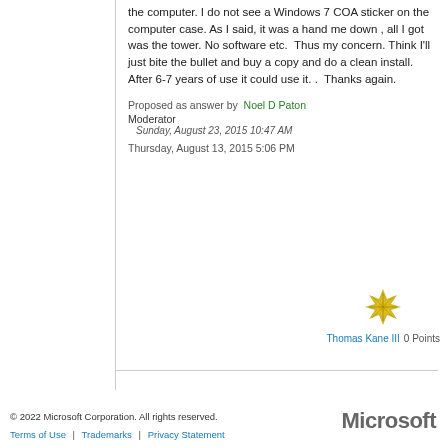the computer. I do not see a Windows 7 COA sticker on the computer case. As I said, it was a hand me down , all I got was the tower. No software etc.  Thus my concern. Think I'll just bite the bullet and buy a copy and do a clean install. After 6-7 years of use it could use it. .  Thanks again.
Proposed as answer by  Noel D Paton Moderator
  Sunday, August 23, 2015 10:47 AM
Thursday, August 13, 2015 5:06 PM
[Figure (illustration): Starburst/badge icon representing user avatar or achievement badge]
Thomas Kane III   0 Points
© 2022 Microsoft Corporation. All rights reserved.
Terms of Use  |  Trademarks  |  Privacy Statement